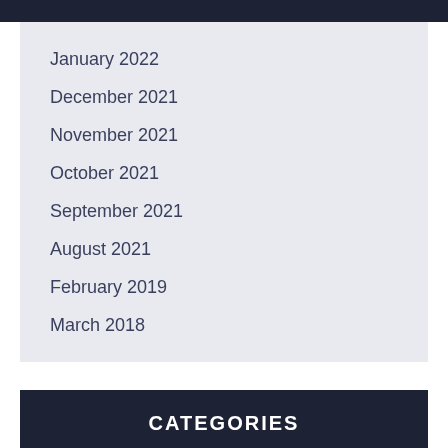January 2022
December 2021
November 2021
October 2021
September 2021
August 2021
February 2019
March 2018
CATEGORIES
"Escorts"
971K